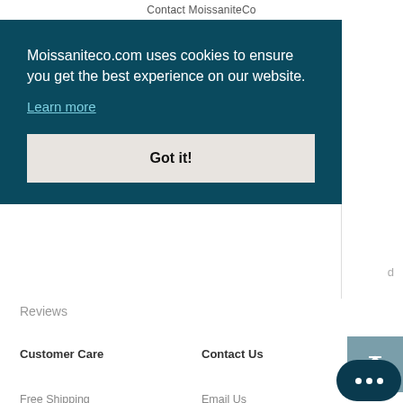Contact MoissaniteCo
Moissaniteco.com uses cookies to ensure you get the best experience on our website.
Learn more
Got it!
Reviews
Customer Care
Contact Us
Free Shipping
Email Us
Return Policy
Live Chat
Moissanite Jewelry Warranty
Help Center